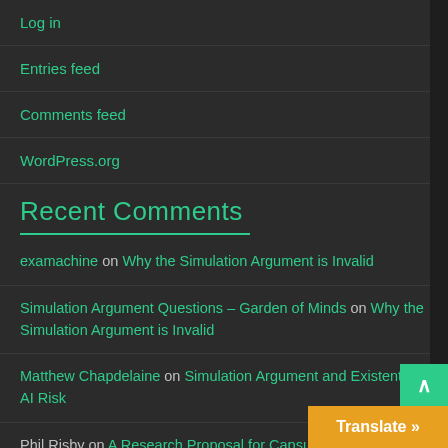Log in
Entries feed
Comments feed
WordPress.org
Recent Comments
examachine on Why the Simulation Argument is Invalid
Simulation Argument Questions – Garden of Minds on Why the Simulation Argument is Invalid
Matthew Chapdelaine on Simulation Argument and Existential AI Risk
Phil Risby on A Research Proposal for Capsule Networks
Silvia on Why the Simulation Argument is